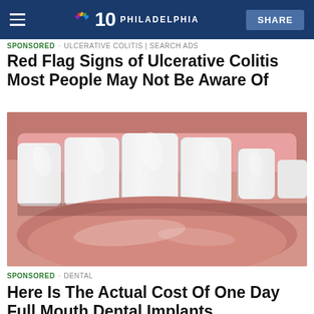NBC 10 PHILADELPHIA | SHARE
SPONSORED · ULCERATIVE COLITIS | SEARCH ADS
Red Flag Signs of Ulcerative Colitis Most People May Not Be Aware Of
[Figure (photo): Close-up macro photograph of a human mouth showing bright white upper front teeth and pale pink lips, with the lower lip partially visible.]
SPONSORED · DENTAL
Here Is The Actual Cost Of One Day Full Mouth Dental Implants